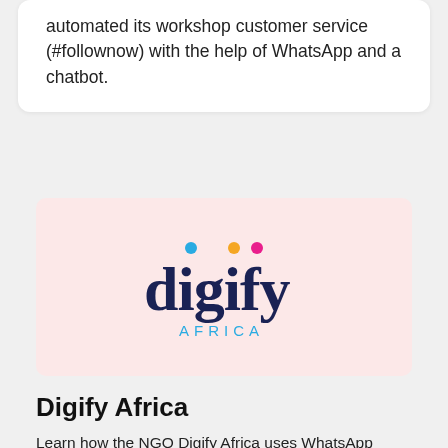automated its workshop customer service (#follownow) with the help of WhatsApp and a chatbot.
[Figure (logo): Digify Africa logo on a pink background. The word 'digify' in dark navy serif-style font with colored dots above letters i and f (blue dot above 'i', yellow dot above second 'i', magenta/pink dot above 'f'), and 'AFRICA' in spaced light blue capital letters below.]
Digify Africa
Learn how the NGO Digify Africa uses WhatsApp